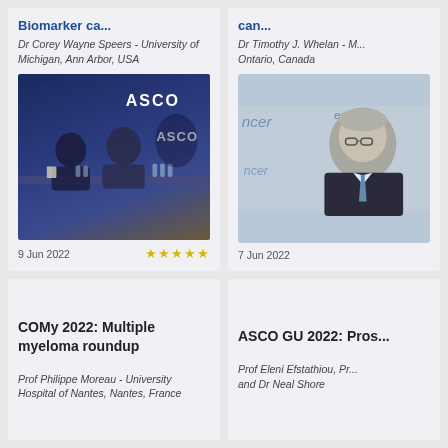Biomarker ca...
Dr Corey Wayne Speers - University of Michigan, Ann Arbor, USA
[Figure (photo): ASCO press conference with two people seated at a table with ASCO branding in background]
9 Jun 2022 ★★★★★
can...
Dr Timothy J. Whelan - M... Ontario, Canada
[Figure (photo): Man in suit with ecancer branding in background]
7 Jun 2022
COMy 2022: Multiple myeloma roundup
Prof Philippe Moreau - University Hospital of Nantes, Nantes, France
ASCO GU 2022: Pros...
Prof Eleni Efstathiou, Pr... and Dr Neal Shore